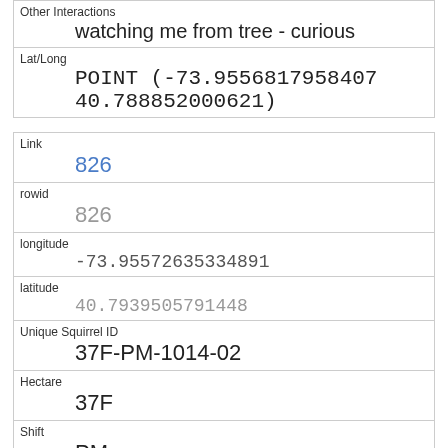| Other Interactions | watching me from tree - curious |
| Lat/Long | POINT (-73.9556817958407 40.788852000621) |
| Link | 826 |
| rowid | 826 |
| longitude | -73.95572635334891 |
| latitude | 40.7939505791448 |
| Unique Squirrel ID | 37F-PM-1014-02 |
| Hectare | 37F |
| Shift | PM |
| Date | 10142018 |